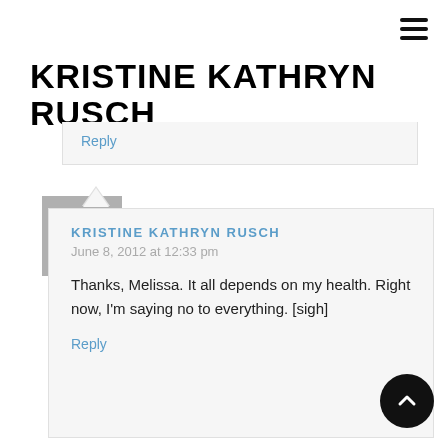KRISTINE KATHRYN RUSCH
Reply
[Figure (illustration): Default user avatar silhouette, grey square background with person icon]
KRISTINE KATHRYN RUSCH
June 8, 2012 at 12:33 pm
Thanks, Melissa. It all depends on my health. Right now, I'm saying no to everything. [sigh]
Reply